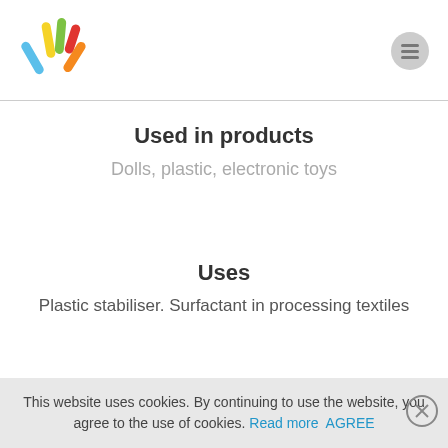[Figure (logo): Colorful hand/finger logo with multiple colored lines (blue, yellow, green, red, orange)]
Used in products
Dolls, plastic, electronic toys
Uses
Plastic stabiliser. Surfactant in processing textiles
This website uses cookies. By continuing to use the website, you agree to the use of cookies. Read more AGREE